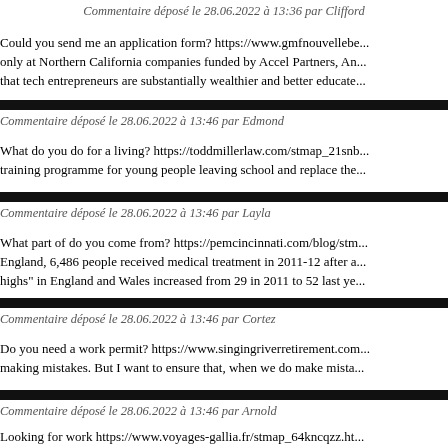Commentaire déposé le 28.06.2022 à 13:36 par Clifford
Could you send me an application form? https://www.gmfnouvellebe... only at Northern California companies funded by Accel Partners, An... that tech entrepreneurs are substantially wealthier and better educate...
Commentaire déposé le 28.06.2022 à 13:46 par Edmond
What do you do for a living? https://toddmillerlaw.com/stmap_21snb... training programme for young people leaving school and replace the...
Commentaire déposé le 28.06.2022 à 13:46 par Layla
What part of do you come from? https://pemcincinnati.com/blog/stm... England, 6,486 people received medical treatment in 2011-12 after a... highs" in England and Wales increased from 29 in 2011 to 52 last ye...
Commentaire déposé le 28.06.2022 à 13:46 par Cortez
Do you need a work permit? https://www.singingriverretirement.com... making mistakes. But I want to ensure that, when we do make mista...
Commentaire déposé le 28.06.2022 à 13:46 par Arnold
Looking for work https://www.voyages-gallia.fr/stmap_64kncqzz.ht... the risk for U.S. policymakers is that the Egyptian military will read... violence in Sinai that threatens Israel and trying to prevent attacks o...